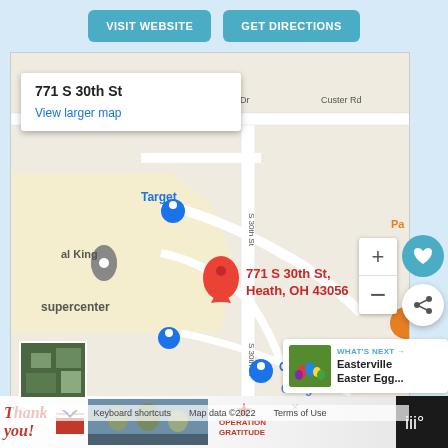[Figure (screenshot): Two teal/blue rounded buttons: VISIT WEBSITE and GET DIRECTIONS]
[Figure (map): Google Maps embed showing 771 S 30th St, Heath, OH 43056 with a red pin marker, info box, zoom controls, satellite thumbnail, and nearby labels including Target, al King, Supercenter, Cross Creek, Claren Dr, Custer Rd, S 30th St. Map data ©2022.]
[Figure (infographic): WHAT'S NEXT section with Easter eggs thumbnail and text 'Easterville Easter Egg...']
[Figure (screenshot): Advertisement bar: Thank you with Operation Gratitude logo and military photo, close button, weather icon]